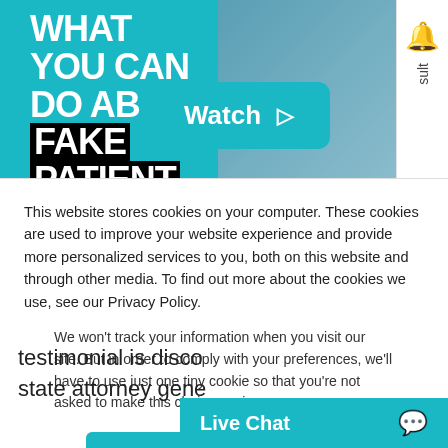[Figure (screenshot): Video thumbnail showing a man gesturing with overlaid text reading 'WHAT YOU CAN DO ABOUT FAKE PATIENT REVIEWS' on a teal/blue background, with a Watch play button overlay and a bell notification icon on the right side.]
This website stores cookies on your computer. These cookies are used to improve your website experience and provide more personalized services to you, both on this website and through other media. To find out more about the cookies we use, see our Privacy Policy.
We won't track your information when you visit our site. But in order to comply with your preferences, we'll have to use just one tiny cookie so that you're not asked to make this choice again.
Accept
Decline
testimonial is disco
state attorney gene
Live Chat